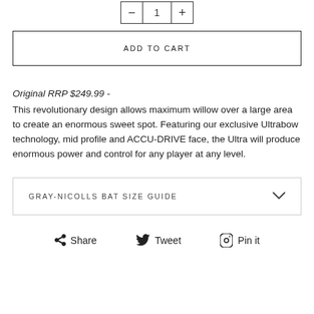[Figure (other): Quantity selector with minus, 1, plus buttons in a bordered box]
ADD TO CART
Original RRP $249.99 -
This revolutionary design allows maximum willow over a large area to create an enormous sweet spot. Featuring our exclusive Ultrabow technology, mid profile and ACCU-DRIVE face, the Ultra will produce enormous power and control for any player at any level.
GRAY-NICOLLS BAT SIZE GUIDE
Share  Tweet  Pin it